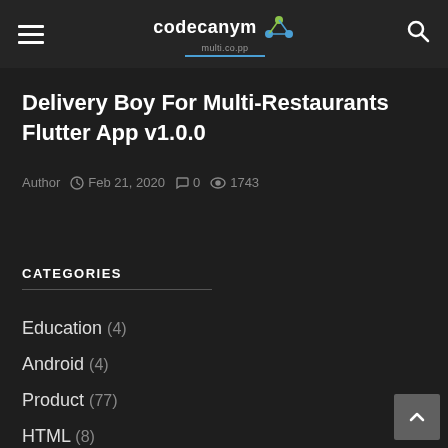codecanym — multi.co.pp
Delivery Boy For Multi-Restaurants Flutter App v1.0.0
Author  Feb 21, 2020  0  1743
CATEGORIES
Education (4)
Android (4)
Product (77)
HTML (8)
Wordpress (68)